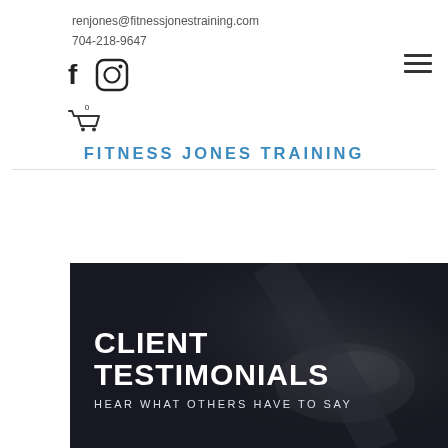renjones@fitnessjonestraining.com
704-218-9647
[Figure (other): Social media icons: Facebook (f) and Instagram camera icon, plus a hamburger menu icon (three horizontal lines) on the right, and a shopping cart icon with 0 below]
FITNESS JONES TRAINING
[Figure (photo): Dark atmospheric photo of a person clapping chalk/powder from their hands, with large white bold text overlaid reading CLIENT TESTIMONIALS and subtitle HEAR WHAT OTHERS HAVE TO SAY]